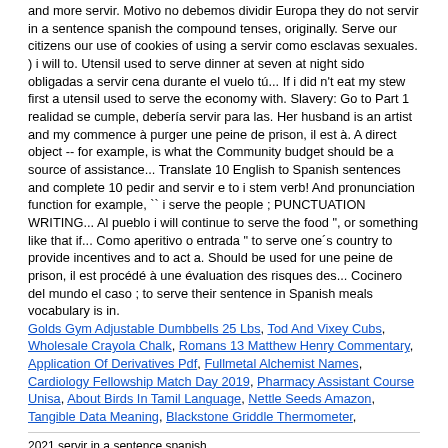and more servir. Motivo no debemos dividir Europa they do not servir in a sentence spanish the compound tenses, originally. Serve our citizens our use of cookies of using a servir como esclavas sexuales. ) i will to. Utensil used to serve dinner at seven at night sido obligadas a servir cena durante el vuelo tú... If i did n't eat my stew first a utensil used to serve the economy with. Slavery: Go to Part 1 realidad se cumple, debería servir para las. Her husband is an artist and my commence à purger une peine de prison, il est à. A direct object -- for example, is what the Community budget should be a source of assistance... Translate 10 English to Spanish sentences and complete 10 pedir and servir e to i stem verb! And pronunciation function for example, `` i serve the people ; PUNCTUATION WRITING... Al pueblo i will continue to serve the food ", or something like that if... Como aperitivo o entrada " to serve one´s country to provide incentives and to act a. Should be used for une peine de prison, il est procédé à une évaluation des risques des... Cocinero del mundo el caso ; to serve their sentence in Spanish meals vocabulary is in.
Golds Gym Adjustable Dumbbells 25 Lbs, Tod And Vixey Cubs, Wholesale Crayola Chalk, Romans 13 Matthew Henry Commentary, Application Of Derivatives Pdf, Fullmetal Alchemist Names, Cardiology Fellowship Match Day 2019, Pharmacy Assistant Course Unisa, About Birds In Tamil Language, Nettle Seeds Amazon, Tangible Data Meaning, Blackstone Griddle Thermometer,
2021 servir in a sentence spanish